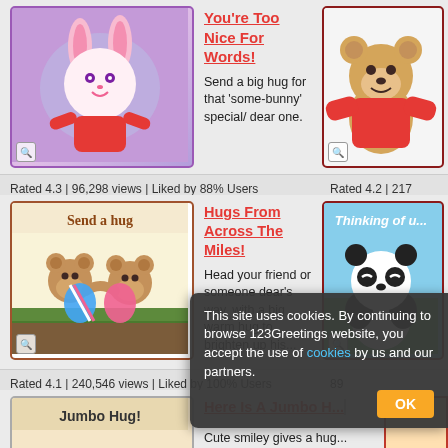[Figure (illustration): Greeting card with cartoon bunny in red shirt on purple background]
You're Too Nice For Words!
Send a big hug for that 'some-bunny' special/ dear one.
[Figure (illustration): Greeting card with cartoon bear in red shirt on white background]
Rated 4.3 | 96,298 views | Liked by 88% Users
Rated 4.2 | 217...
[Figure (illustration): Greeting card with two cartoon bears hugging, text 'Send a hug']
Hugs From Across The Miles!
Head your friend or someone dear's way, with a big warm hug to brighten up his...
[Figure (illustration): Greeting card with panda bear, text 'Thinking of u...']
Rated 4.1 | 240,546 views | Liked by 100% Users
[Figure (illustration): Greeting card with smiley face character, text 'Jumbo Hug!']
Here Is A Jumbo H...
Cute smiley gives a hug... wishes a great day.
This site uses cookies. By continuing to browse 123Greetings website, you accept the use of cookies by us and our partners.